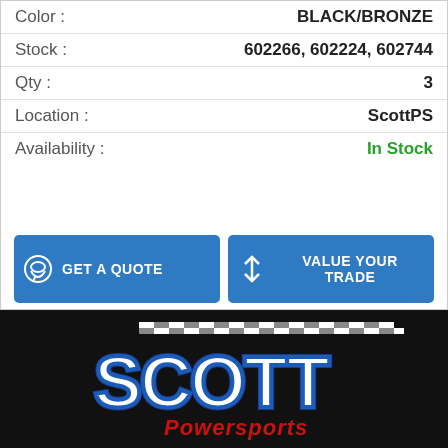Color : BLACK/BRONZE
Stock : 602266, 602224, 602744
Qty : 3
Location : ScottPS
Availability : In Stock
[Figure (infographic): Four blue call-to-action buttons: GET A QUOTE, VALUE YOUR TRADE, GET FINANCING, VIEW DETAILS]
[Figure (logo): Scott Powersports logo on black background — white and blue stylized text SCOTT with red script below, checkered flag stripe above]